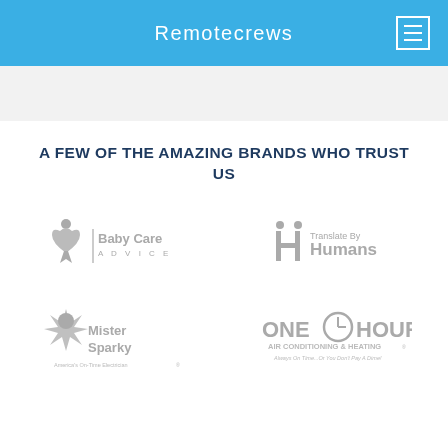Remotecrews
A FEW OF THE AMAZING BRANDS WHO TRUST US
[Figure (logo): Baby Care Advice logo in grayscale]
[Figure (logo): Translate By Humans logo in grayscale]
[Figure (logo): Mister Sparky America's On-Time Electrician logo in grayscale]
[Figure (logo): One Hour Air Conditioning & Heating logo in grayscale]